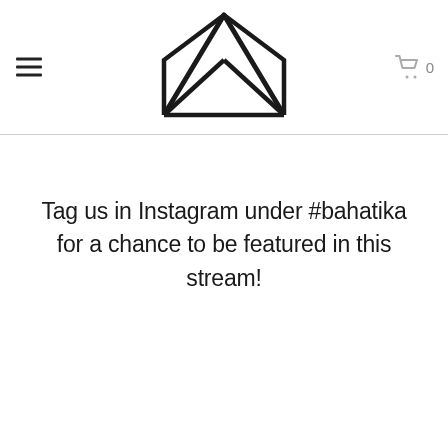[Figure (logo): Crown/diamond geometric logo made of triangular shapes forming a crown outline]
Tag us in Instagram under #bahatika for a chance to be featured in this stream!